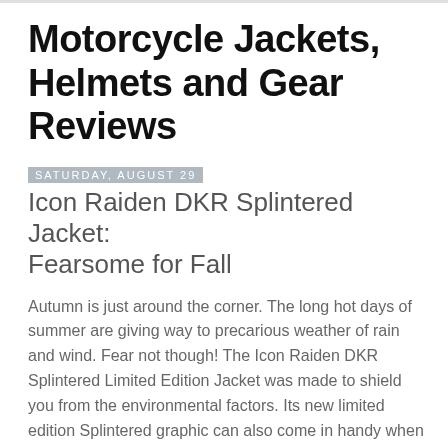Motorcycle Jackets, Helmets and Gear Reviews
Saturday, August 29
Icon Raiden DKR Splintered Jacket: Fearsome for Fall
Autumn is just around the corner. The long hot days of summer are giving way to precarious weather of rain and wind. Fear not though! The Icon Raiden DKR Splintered Limited Edition Jacket was made to shield you from the environmental factors. Its new limited edition Splintered graphic can also come in handy when scaring children and the elderly on your Frankenstein of a supermoto.
[Figure (photo): Image placeholder at bottom of page]